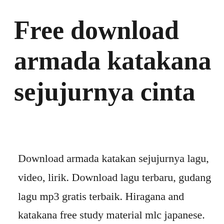Free download armada katakana sejujurnya cinta
Download armada katakan sejujurnya lagu, video, lirik. Download lagu terbaru, gudang lagu mp3 gratis terbaik. Hiragana and katakana free study material mlc japanese. Aku disuruh mencari seberapa ramai gadis